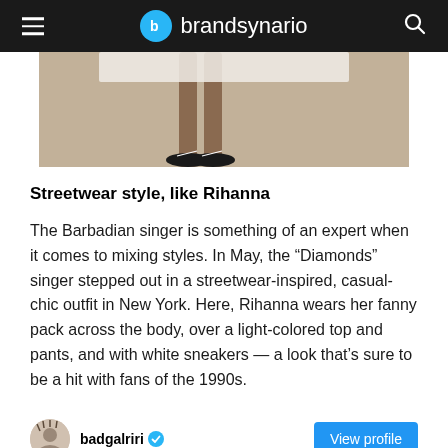brandsynario
[Figure (photo): Partial photo of a person's legs wearing black sneakers with white laces, white fringe or feathered garment, against a blurred light background.]
Streetwear style, like Rihanna
The Barbadian singer is something of an expert when it comes to mixing styles. In May, the “Diamonds” singer stepped out in a streetwear-inspired, casual-chic outfit in New York. Here, Rihanna wears her fanny pack across the body, over a light-colored top and pants, and with white sneakers — a look that’s sure to be a hit with fans of the 1990s.
badgalriri ✓ View profile